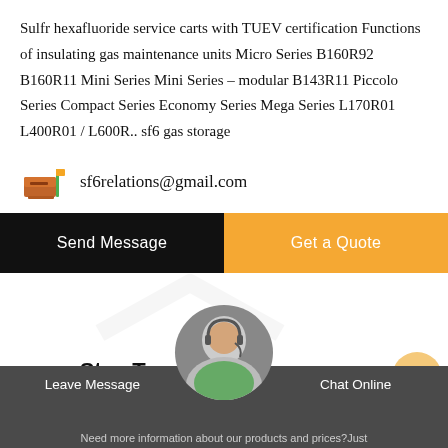Sulfr hexafluoride service carts with TUEV certification Functions of insulating gas maintenance units Micro Series B160R92 B160R11 Mini Series Mini Series – modular B143R11 Piccolo Series Compact Series Economy Series Mega Series L170R01 L400R01 / L600R.. sf6 gas storage
sf6relations@gmail.com
Send Message
Get a Quote
Stay Touch With Us
Leave Message  Chat Online  Need more information about our products and prices?Just